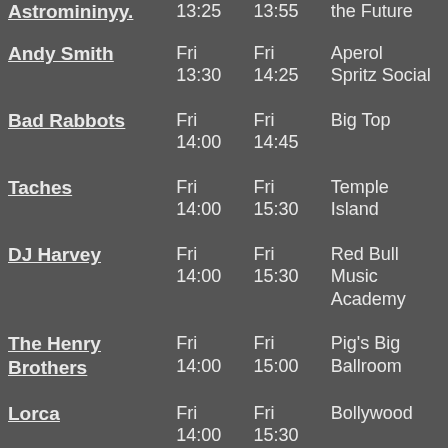| Artist | Start | End | Venue |
| --- | --- | --- | --- |
| Astromininyy. | 13:25 | 13:55 | the Future |
| Andy Smith | Fri 13:30 | Fri 14:25 | Aperol Spritz Social |
| Bad Rabbots | Fri 14:00 | Fri 14:45 | Big Top |
| Taches | Fri 14:00 | Fri 15:30 | Temple Island |
| DJ Harvey | Fri 14:00 | Fri 15:30 | Red Bull Music Academy |
| The Henry Brothers | Fri 14:00 | Fri 15:00 | Pig's Big Ballroom |
| Lorca | Fri 14:00 | Fri 15:30 | Bollywood |
| Thickets | Fri 14:00 | Fri 14:30 | The Bandstand |